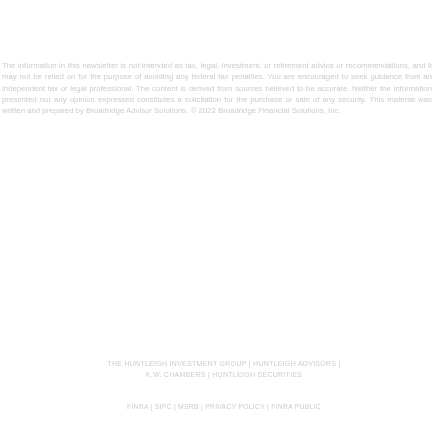The information in this newsletter is not intended as tax, legal, investment, or retirement advice or recommendations, and it may not be relied on for the purpose of avoiding any federal tax penalties. You are encouraged to seek guidance from an independent tax or legal professional. The content is derived from sources believed to be accurate. Neither the information presented nor any opinion expressed constitutes a solicitation for the purchase or sale of any security. This material was written and prepared by Broadridge Advisor Solutions. © 2022 Broadridge Financial Solutions, Inc.
THE HUNTLEIGH INVESTMENT GROUP | HUNTLEIGH ADVISORS | K.W. CHAMBERS | HUNTLEIGH SECURITIES
FINRA | SIPC | MSRB | PRIVACY POLICY | FINRA PUBLIC